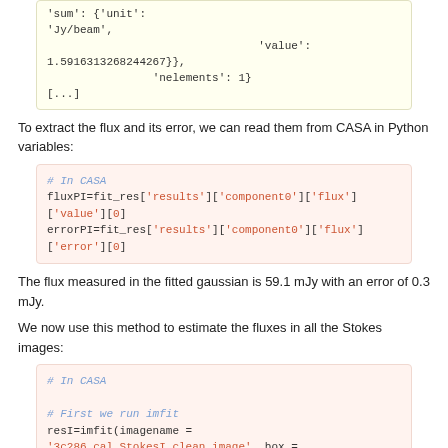'sum': {'unit': 'Jy/beam', 'value': 1.5916313268244267}}, 'nelements': 1}
[...]
To extract the flux and its error, we can read them from CASA in Python variables:
# In CASA
fluxPI=fit_res['results']['component0']['flux']['value'][0]
errorPI=fit_res['results']['component0']['flux']['error'][0]
The flux measured in the fitted gaussian is 59.1 mJy with an error of 0.3 mJy.
We now use this method to estimate the fluxes in all the Stokes images:
# In CASA
# First we run imfit
resI=imfit(imagename = '3c286.cal.StokesI.clean.image', box = '110,110,145,145')
resQ=imfit(imagename =